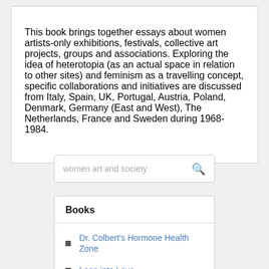This book brings together essays about women artists-only exhibitions, festivals, collective art projects, groups and associations. Exploring the idea of heterotopia (as an actual space in relation to other sites) and feminism as a travelling concept, specific collaborations and initiatives are discussed from Italy, Spain, UK, Portugal, Austria, Poland, Denmark, Germany (East and West), The Netherlands, France and Sweden during 1968-1984.
[Figure (screenshot): Search bar with placeholder text 'women art and society' and a search icon]
Books
Dr. Colbert's Hormone Health Zone
Leap into Love